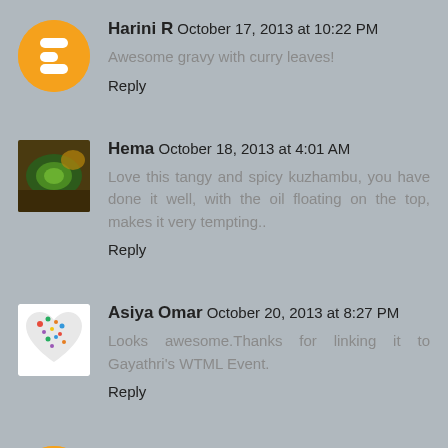Harini R  October 17, 2013 at 10:22 PM
Awesome gravy with curry leaves!
Reply
Hema  October 18, 2013 at 4:01 AM
Love this tangy and spicy kuzhambu, you have done it well, with the oil floating on the top, makes it very tempting..
Reply
Asiya Omar  October 20, 2013 at 8:27 PM
Looks awesome.Thanks for linking it to Gayathri's WTML Event.
Reply
Sandhya Ramakrishnan  October 22, 2013 at 5:18 PM